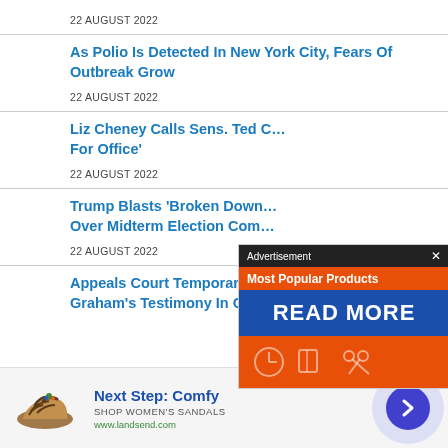22 AUGUST 2022
As Polio Is Detected In New York City, Fears Of Outbreak Grow
22 AUGUST 2022
Liz Cheney Calls Sens. Ted C… For Office'
22 AUGUST 2022
Trump Blasts 'Broken Down… Over Midterm Election Com…
22 AUGUST 2022
Appeals Court Temporarily Blocks Sen. Lindsey Graham's Testimony In Georgia Voter Fraud Case
[Figure (screenshot): Advertisement overlay with orange and blue sections reading 'Most Popular Products' and 'READ MORE']
[Figure (screenshot): Bottom advertisement banner: Next Step: Comfy, Shop Women's Sandals, www.landsend.com]